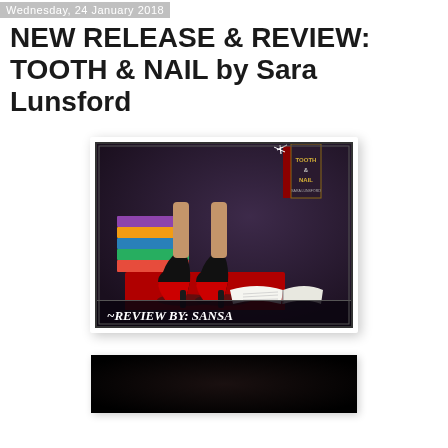Wednesday, 24 January 2018
NEW RELEASE & REVIEW: TOOTH & NAIL by Sara Lunsford
[Figure (illustration): Book review banner image showing black high-heel shoes with red soles standing on colorful books, with an open white book in the foreground, a small book cover thumbnail in the upper right corner labeled 'TOOTH & NAIL', and text at the bottom reading 'REVIEW BY: SANSA'. Dark moody background.]
[Figure (photo): Partial image at bottom of page, dark/black background, beginning of another image cut off.]